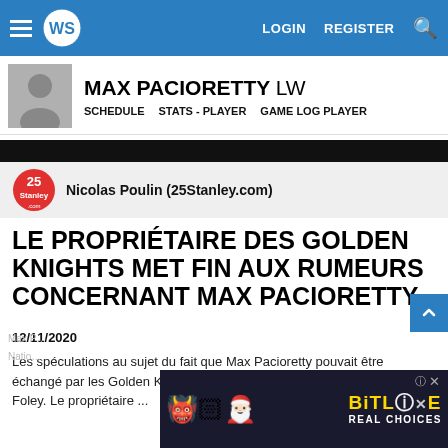WS LOGIN REGISTER [search]
MAX PACIORETTY LW
SCHEDULE  STATS - PLAYER  GAME LOG PLAYER
Nicolas Poulin (25Stanley.com)
LE PROPRIÉTAIRE DES GOLDEN KNIGHTS MET FIN AUX RUMEURS CONCERNANT MAX PACIORETTY
12/11/2020
Les spéculations au sujet du fait que Max Pacioretty pouvait être échangé par les Golden Knights ont été rapidement balayées par Bill Foley. Le propriétaire ...
[Figure (other): BitLife Real Choices advertisement banner with colorful emoji characters]